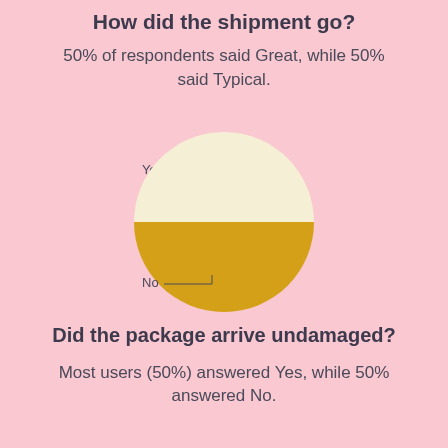How did the shipment go?
50% of respondents said Great, while 50% said Typical.
[Figure (pie-chart): How did the shipment go?]
Did the package arrive undamaged?
Most users (50%) answered Yes, while 50% answered No.